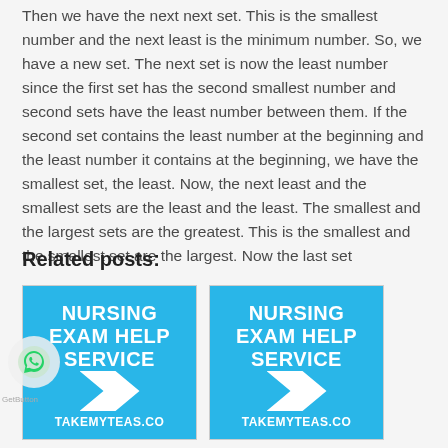Then we have the next next set. This is the smallest number and the next least is the minimum number. So, we have a new set. The next set is now the least number since the first set has the second smallest number and second sets have the least number between them. If the second set contains the least number at the beginning and the least number it contains at the beginning, we have the smallest set, the least. Now, the next least and the smallest sets are the least and the least. The smallest and the largest sets are the greatest. This is the smallest and the smallest set are the largest. Now the last set
Related posts:
[Figure (illustration): Blue banner image with white bold text reading 'NURSING EXAM HELP SERVICE' and 'TAKEMYTEAS.CO' at the bottom, with a white arrow shape in the middle]
[Figure (illustration): Blue banner image with white bold text reading 'NURSING EXAM HELP SERVICE' and 'TAKEMYTEAS.CO' at the bottom, with a white arrow shape in the middle (partially cut off on right)]